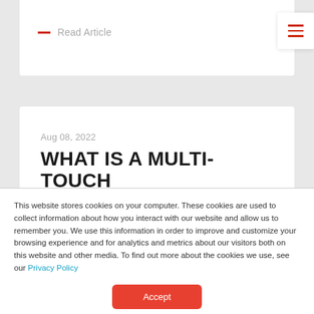— Read Article
WHAT IS A MULTI-TOUCH
Aug 08, 2022
This website stores cookies on your computer. These cookies are used to collect information about how you interact with our website and allow us to remember you. We use this information in order to improve and customize your browsing experience and for analytics and metrics about our visitors both on this website and other media. To find out more about the cookies we use, see our Privacy Policy
Accept